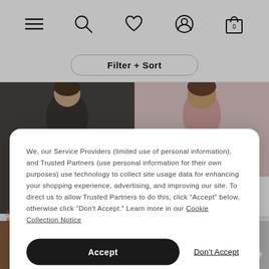[Figure (screenshot): Navigation bar with hamburger menu, search, heart/wishlist, user profile, and shopping bag (0) icons]
Filter + Sort
[Figure (photo): Two fashion product photos side by side: left shows a dark floral dress, right shows a pink floral dress]
We, our Service Providers (limited use of personal information), and Trusted Partners (use personal information for their own purposes) use technology to collect site usage data for enhancing your shopping experience, advertising, and improving our site. To direct us to allow Trusted Partners to do this, click “Accept” below, otherwise click “Don’t Accept.” Learn more in our Cookie Collection Notice
Accept
Don't Accept
[Figure (photo): Bottom strip with two more product photos partially visible, and Chat support button on right]